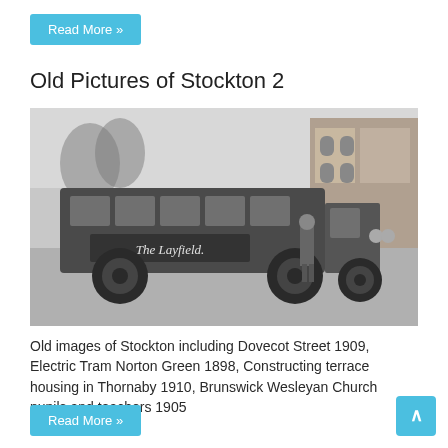Read More »
Old Pictures of Stockton 2
[Figure (photo): Black and white historical photograph of an old bus or motor vehicle with 'The Layfield.' written on its side, with a man standing beside it in front of a building with trees in the background.]
Old images of Stockton including Dovecot Street 1909, Electric Tram Norton Green 1898, Constructing terrace housing in Thornaby 1910, Brunswick Wesleyan Church pupils and teachers 1905
Read More »